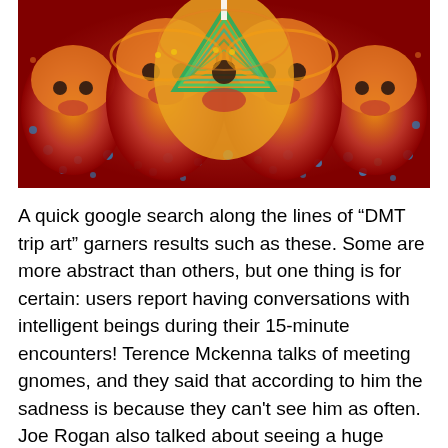[Figure (illustration): Psychedelic digital artwork depicting multiple large Buddha-like faces arranged symmetrically, rendered in vivid red, orange, gold, and blue hues with intricate dotted mandala-like patterns throughout. The image is highly detailed and trippy in style, resembling DMT trip art.]
A quick google search along the lines of "DMT trip art" garners results such as these. Some are more abstract than others, but one thing is for certain: users report having conversations with intelligent beings during their 15-minute encounters! Terence Mckenna talks of meeting gnomes, and they said that according to him the sadness is because they can't see him as often. Joe Rogan also talked about seeing a huge Buddha statue in his trip on DMT where not being astonished at all what he saw was important advice given for those who go into these things